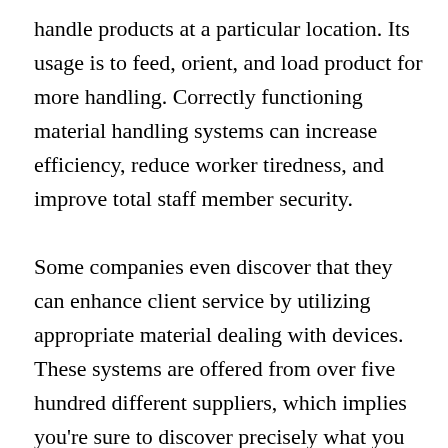handle products at a particular location. Its usage is to feed, orient, and load product for more handling. Correctly functioning material handling systems can increase efficiency, reduce worker tiredness, and improve total staff member security.
Some companies even discover that they can enhance client service by utilizing appropriate material dealing with devices. These systems are offered from over five hundred different suppliers, which implies you're sure to discover precisely what you require.